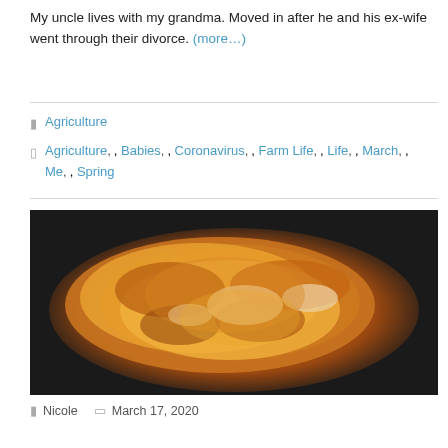My uncle lives with my grandma. Moved in after he and his ex-wife went through their divorce. (more...)
Agriculture
Agriculture, Babies, Coronavirus, Farm Life, Life, March, Me, Spring
[Figure (photo): A close-up photo of a cheesy, browned casserole or skillet dish in a dark cast iron pan, with melted golden-orange cheese on top.]
Nicole   March 17, 2020